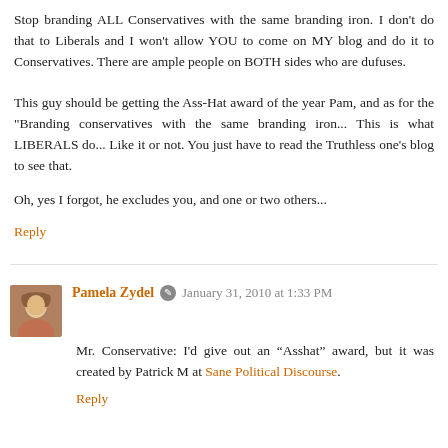Stop branding ALL Conservatives with the same branding iron. I don't do that to Liberals and I won't allow YOU to come on MY blog and do it to Conservatives. There are ample people on BOTH sides who are dufuses.
This guy should be getting the Ass-Hat award of the year Pam, and as for the "Branding conservatives with the same branding iron... This is what LIBERALS do... Like it or not. You just have to read the Truthless one's blog to see that.
Oh, yes I forgot, he excludes you, and one or two others...
Reply
Pamela Zydel  January 31, 2010 at 1:33 PM
Mr. Conservative: I'd give out an “Asshat” award, but it was created by Patrick M at Sane Political Discourse.
Reply